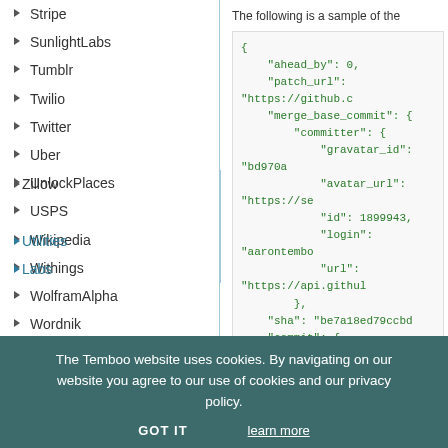Stripe
SunlightLabs
Tumblr
Twilio
Twitter
Uber
UnlockPlaces
USPS
Wikipedia
Withings
WolframAlpha
Wordnik
Xively
Yahoo
Yelp
YouTube
Zendesk
Zillow
Utilities
Labs
The following is a sample of the
[Figure (screenshot): JSON code snippet showing GitHub API response with fields: ahead_by, patch_url, merge_base_commit (committer with gravatar_id, avatar_url, id: 1899943, login, url), sha, commit (committer with email, date, name)]
The Temboo website uses cookies. By navigating on our website you agree to our use of cookies and our privacy policy.